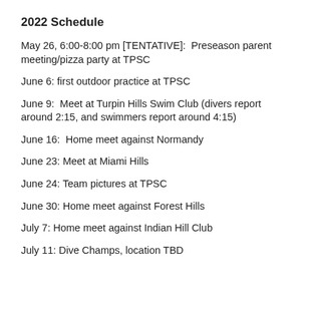2022 Schedule
May 26, 6:00-8:00 pm [TENTATIVE]:  Preseason parent meeting/pizza party at TPSC
June 6: first outdoor practice at TPSC
June 9:  Meet at Turpin Hills Swim Club (divers report around 2:15, and swimmers report around 4:15)
June 16:  Home meet against Normandy
June 23: Meet at Miami Hills
June 24: Team pictures at TPSC
June 30: Home meet against Forest Hills
July 7: Home meet against Indian Hill Club
July 11: Dive Champs, location TBD